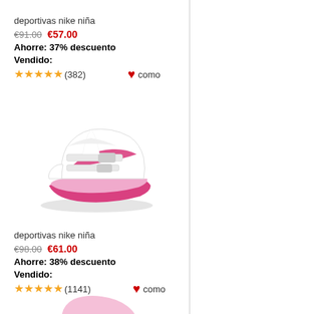deportivas nike niña
€91.00  €57.00
Ahorre: 37% descuento
Vendido:
★★★★★ (382)  ♥ como
[Figure (photo): White and pink Nike girls sneaker/shoe with velcro straps]
deportivas nike niña
€98.00  €61.00
Ahorre: 38% descuento
Vendido:
★★★★★ (1141)  ♥ como
[Figure (photo): Partial view of pink Nike girls sneaker at bottom of page]